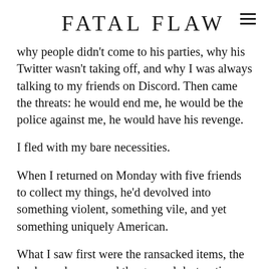FATAL FLAW
why people didn't come to his parties, why his Twitter wasn't taking off, and why I was always talking to my friends on Discord. Then came the threats: he would end me, he would be the police against me, he would have his revenge.
I fled with my bare necessities.
When I returned on Monday with five friends to collect my things, he'd devolved into something violent, something vile, and yet something uniquely American.
What I saw first were the ransacked items, the haphazard mess, and the general destruction